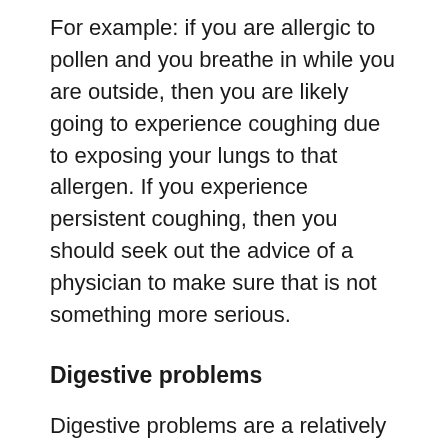For example: if you are allergic to pollen and you breathe in while you are outside, then you are likely going to experience coughing due to exposing your lungs to that allergen. If you experience persistent coughing, then you should seek out the advice of a physician to make sure that is not something more serious.
Digestive problems
Digestive problems are a relatively uncommon but still possible allergic symptom. Digestive problems are most commonly associated with food-related allergies. For example, if you are lactose intolerant and you drink something with dairy in it, you're likely to experience digestive problems. This allergic symptom is typically not considered serious unless